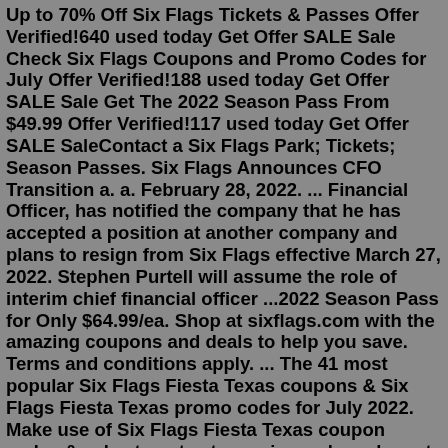Up to 70% Off Six Flags Tickets & Passes Offer Verified!640 used today Get Offer SALE Sale Check Six Flags Coupons and Promo Codes for July Offer Verified!188 used today Get Offer SALE Sale Get The 2022 Season Pass From $49.99 Offer Verified!117 used today Get Offer SALE SaleContact a Six Flags Park; Tickets; Season Passes. Six Flags Announces CFO Transition a. a. February 28, 2022. ... Financial Officer, has notified the company that he has accepted a position at another company and plans to resign from Six Flags effective March 27, 2022. Stephen Purtell will assume the role of interim chief financial officer ...2022 Season Pass for Only $64.99/ea. Shop at sixflags.com with the amazing coupons and deals to help you save. Terms and conditions apply. ... The 41 most popular Six Flags Fiesta Texas coupons & Six Flags Fiesta Texas promo codes for July 2022. Make use of Six Flags Fiesta Texas coupon codes & sales to get extra savings when shop at sixflags ...Updated: 2:59 PM CDT April 1, 2022. EUREKA, Mo. — Six Flags St. Louis is reopening for its 2022 season on